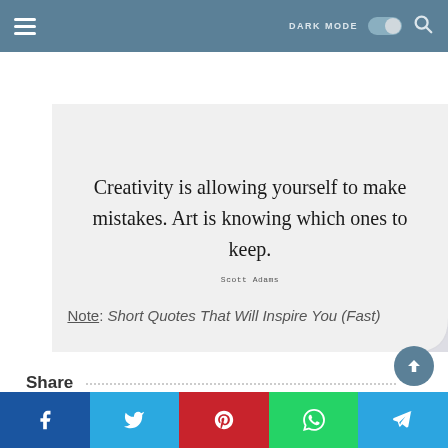DARK MODE [toggle] [search]
[Figure (illustration): Quote card with light grey background and a curled corner at bottom-right. Script handwriting text reads: Creativity is allowing yourself to make mistakes. Art is knowing which ones to keep. Attribution: Scott Adams]
Note: Short Quotes That Will Inspire You (Fast)
Share
[Figure (infographic): Social share bar with five buttons: Facebook (blue), Twitter (light blue), Pinterest (red), WhatsApp (green), Telegram (blue). Each has a white icon.]